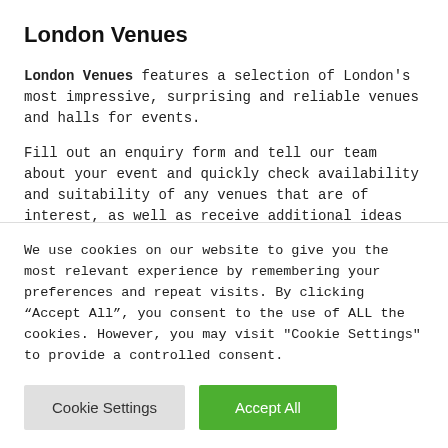London Venues
London Venues features a selection of London's most impressive, surprising and reliable venues and halls for events.
Fill out an enquiry form and tell our team about your event and quickly check availability and suitability of any venues that are of interest, as well as receive additional ideas from our team of experts.
OUR PLATFORM
We use cookies on our website to give you the most relevant experience by remembering your preferences and repeat visits. By clicking "Accept All", you consent to the use of ALL the cookies. However, you may visit "Cookie Settings" to provide a controlled consent.